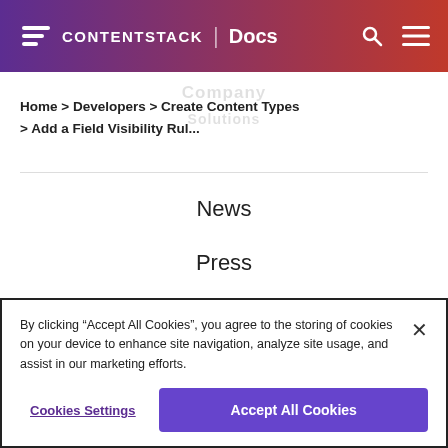CONTENTSTACK | Docs
Home > Developers > Create Content Types > Add a Field Visibility Rul...
News
Press
Careers
Become a Partner
By clicking “Accept All Cookies”, you agree to the storing of cookies on your device to enhance site navigation, analyze site usage, and assist in our marketing efforts.